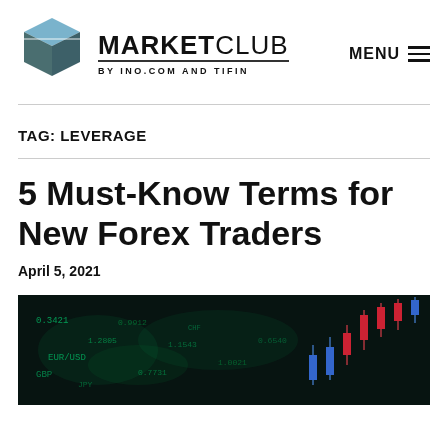MARKETCLUB BY INO.COM AND TIFIN | MENU
TAG: LEVERAGE
5 Must-Know Terms for New Forex Traders
April 5, 2021
[Figure (photo): Dark financial trading screen with glowing green numbers and a candlestick chart with red and blue bars rising on the right side]